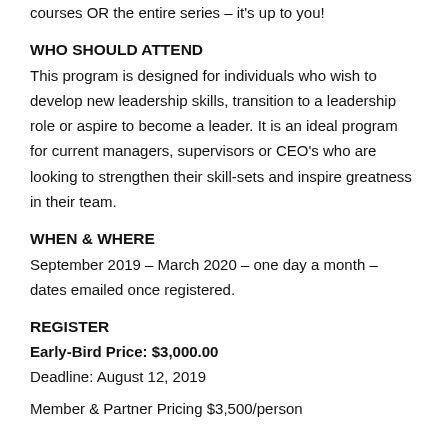courses OR the entire series – it's up to you!
WHO SHOULD ATTEND
This program is designed for individuals who wish to develop new leadership skills, transition to a leadership role or aspire to become a leader. It is an ideal program for current managers, supervisors or CEO's who are looking to strengthen their skill-sets and inspire greatness in their team.
WHEN & WHERE
September 2019 – March 2020 – one day a month – dates emailed once registered.
REGISTER
Early-Bird Price: $3,000.00
Deadline: August 12, 2019
Member & Partner Pricing $3,500/person